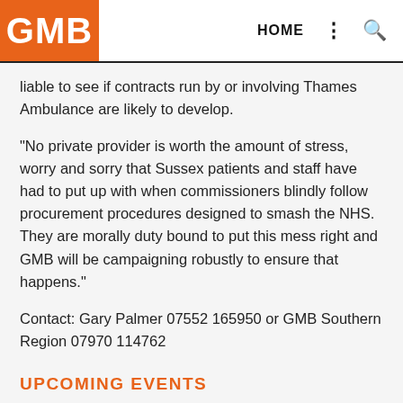GMB | HOME
liable to see if contracts run by or involving Thames Ambulance are likely to develop.
"No private provider is worth the amount of stress, worry and sorry that Sussex patients and staff have had to put up with when commissioners blindly follow procurement procedures designed to smash the NHS. They are morally duty bound to put this mess right and GMB will be campaigning robustly to ensure that happens."
Contact: Gary Palmer 07552 165950 or GMB Southern Region 07970 114762
UPCOMING EVENTS